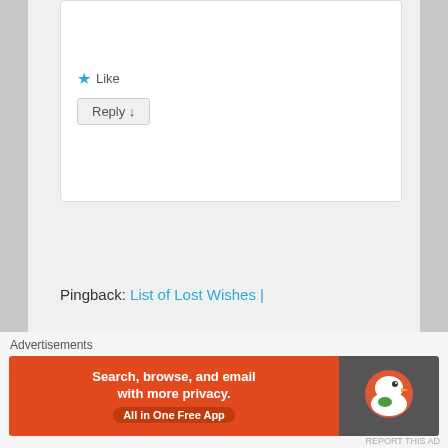Freshly Pressed.
★ Like
Reply ↓
Pingback: List of Lost Wishes |
[Figure (photo): Avatar photo of a small figurine sitting on a red surface, resembling a cat or character with a black hat]
Zen A. on 2012-12-14 at 02:56
said:
Aww, what a lovely story. Certainly deserves to be Freshly
Advertisements
[Figure (screenshot): DuckDuckGo advertisement banner: orange left section reads 'Search, browse, and email with more privacy. All in One Free App' and dark right section shows DuckDuckGo logo]